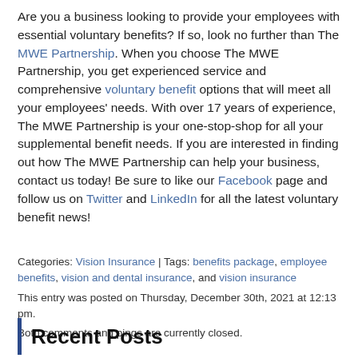Are you a business looking to provide your employees with essential voluntary benefits? If so, look no further than The MWE Partnership. When you choose The MWE Partnership, you get experienced service and comprehensive voluntary benefit options that will meet all your employees' needs. With over 17 years of experience, The MWE Partnership is your one-stop-shop for all your supplemental benefit needs. If you are interested in finding out how The MWE Partnership can help your business, contact us today! Be sure to like our Facebook page and follow us on Twitter and LinkedIn for all the latest voluntary benefit news!
Categories: Vision Insurance | Tags: benefits package, employee benefits, vision and dental insurance, and vision insurance
This entry was posted on Thursday, December 30th, 2021 at 12:13 pm. Both comments and pings are currently closed.
Recent Posts